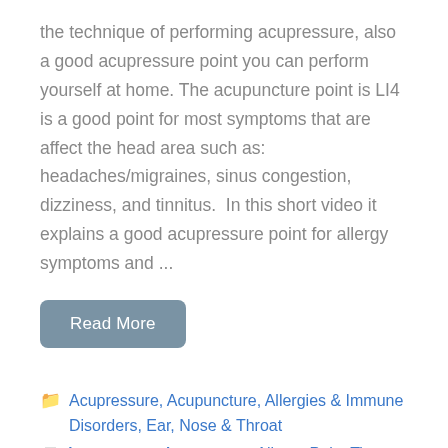the technique of performing acupressure, also a good acupressure point you can perform yourself at home. The acupuncture point is LI4 is a good point for most symptoms that are affect the head area such as: headaches/migraines, sinus congestion, dizziness, and tinnitus.  In this short video it explains a good acupressure point for allergy symptoms and ...
Read More
Acupressure, Acupuncture, Allergies & Immune Disorders, Ear, Nose & Throat
Acupressure, Acupressure Allergy Point Tips, allergies, Allergies & Respiratory System, TMJ & Headaches